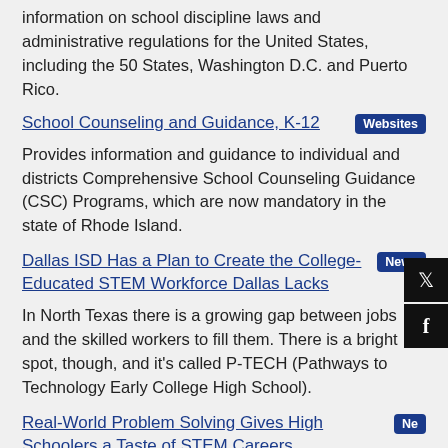information on school discipline laws and administrative regulations for the United States, including the 50 States, Washington D.C. and Puerto Rico.
School Counseling and Guidance, K-12 [Websites]
Provides information and guidance to individual and districts Comprehensive School Counseling Guidance (CSC) Programs, which are now mandatory in the state of Rhode Island.
Dallas ISD Has a Plan to Create the College-Educated STEM Workforce Dallas Lacks [News]
In North Texas there is a growing gap between jobs and the skilled workers to fill them. There is a bright spot, though, and it's called P-TECH (Pathways to Technology Early College High School).
Real-World Problem Solving Gives High Schoolers a Taste of STEM Careers [News]